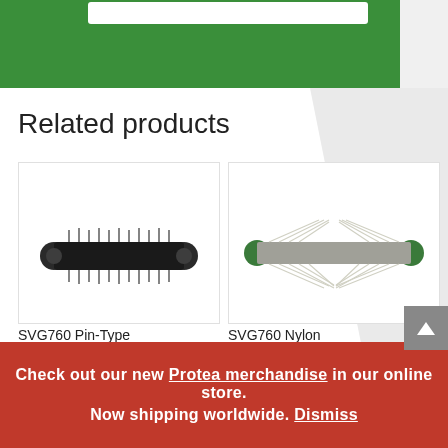[Figure (screenshot): Green website header banner with white search bar]
Related products
[Figure (photo): SVG760 Pin-Type Scarifying Reel — black cylindrical reel with pins]
SVG760 Pin-Type Scarifying Reel
[Figure (photo): SVG760 Nylon Sweeper Reel — grey/white nylon bristle reel]
SVG760 Nylon Sweeper Reel
Check out our new Protea merchandise in our online store. Now shipping worldwide. Dismiss